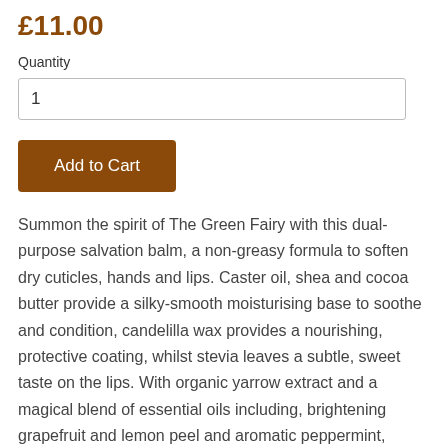£11.00
Quantity
1
Add to Cart
Summon the spirit of The Green Fairy with this dual-purpose salvation balm, a non-greasy formula to soften dry cuticles, hands and lips. Caster oil, shea and cocoa butter provide a silky-smooth moisturising base to soothe and condition, candelilla wax provides a nourishing, protective coating, whilst stevia leaves a subtle, sweet taste on the lips. With organic yarrow extract and a magical blend of essential oils including, brightening grapefruit and lemon peel and aromatic peppermint, fennel and aniseed.